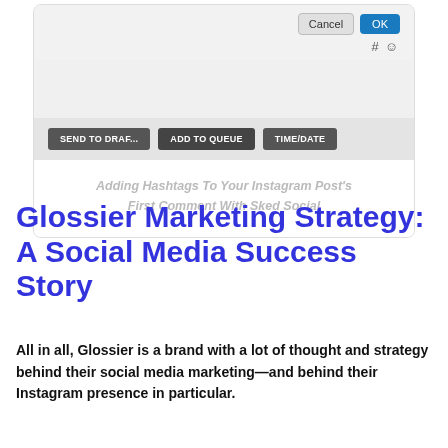[Figure (screenshot): Screenshot of a social media scheduling tool (Sked Social) showing a dialog with Cancel and OK buttons, hashtag and emoji icons, action buttons for SEND TO DRAF..., ADD TO QUEUE, and TIME/DATE.]
Adding Hashtags To Your Instagram Post's First Comment With Sked Social
Glossier Marketing Strategy: A Social Media Success Story
All in all, Glossier is a brand with a lot of thought and strategy behind their social media marketing—and behind their Instagram presence in particular.